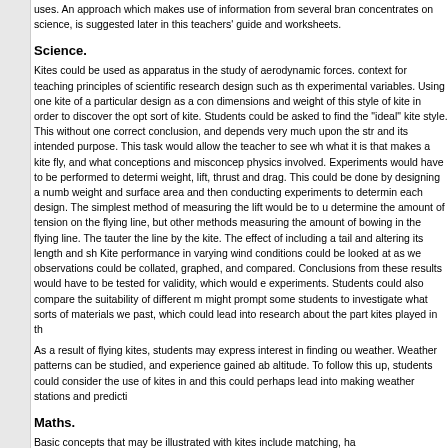uses. An approach which makes use of information from several branches, concentrates on science, is suggested later in this teachers' guide and worksheets.
Science.
Kites could be used as apparatus in the study of aerodynamic forces. context for teaching principles of scientific research design such as the experimental variables. Using one kite of a particular design as a cont dimensions and weight of this style of kite in order to discover the opt sort of kite. Students could be asked to find the "ideal" kite style. This without one correct conclusion, and depends very much upon the stre and its intended purpose. This task would allow the teacher to see wh what it is that makes a kite fly, and what conceptions and misconcept physics involved. Experiments would have to be performed to determi weight, lift, thrust and drag. This could be done by designing a numb weight and surface area and then conducting experiments to determin each design. The simplest method of measuring the lift would be to us determine the amount of tension on the flying line, but other methods measuring the amount of bowing in the flying line. The tauter the line by the kite. The effect of including a tail and altering its length and sh Kite performance in varying wind conditions could be looked at as wel observations could be collated, graphed, and compared. Conclusions from these results would have to be tested for validity, which would en experiments. Students could also compare the suitability of different m might prompt some students to investigate what sorts of materials we past, which could lead into research about the part kites played in the
As a result of flying kites, students may express interest in finding out weather. Weather patterns can be studied, and experience gained ab altitude. To follow this up, students could consider the use of kites in t and this could perhaps lead into making weather stations and predicti
Maths.
Basic concepts that may be illustrated with kites include matching, ha
Practical work could be done on surface area, perimeter, shape reco also be done on decimals, diagrams, graphs, equations, ratios and